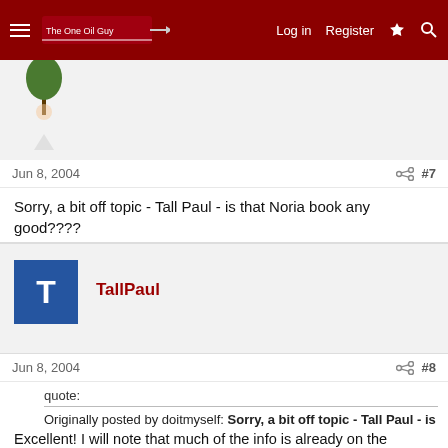Log in | Register | [navigation icons]
[Figure (illustration): Partial view of a user avatar with tree/person icon on grey background]
Jun 8, 2004  #7
Sorry, a bit off topic - Tall Paul - is that Noria book any good????
[Figure (illustration): TallPaul user avatar: blue square with white T letter]
TallPaul
Jun 8, 2004  #8
quote:

Originally posted by doitmyself: Sorry, a bit off topic - Tall Paul - is that Noria book any good????
Excellent! I will note that much of the info is already on the website in Machinery Lubrication, which is posted there with all